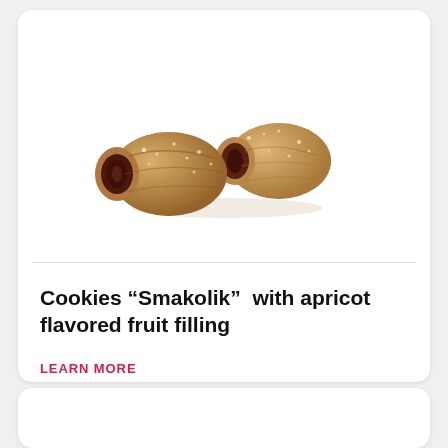[Figure (photo): Two rolled cookies with visible fruit filling (Smakolik cookies) dusted with sugar, photographed on white background]
Cookies “Smakolik” with apricot flavored fruit filling
LEARN MORE